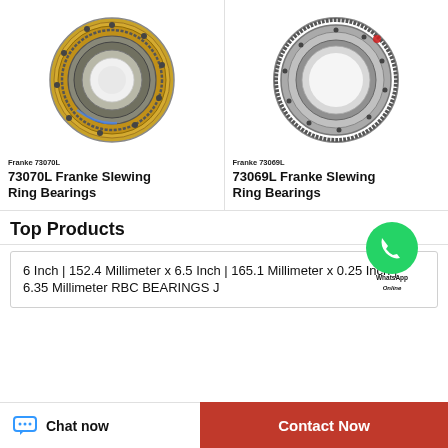[Figure (photo): Franke 73070L slewing ring bearing with gold/brass colored outer ring and toothed inner ring, viewed from above]
Franke 73070L
73070L Franke Slewing Ring Bearings
[Figure (photo): Franke 73069L slewing ring bearing with silver/steel colored rings and external gear teeth, viewed from above]
Franke 73069L
73069L Franke Slewing Ring Bearings
[Figure (logo): WhatsApp green circle logo with phone icon and text 'WhatsApp Online']
Top Products
6 Inch | 152.4 Millimeter x 6.5 Inch | 165.1 Millimeter x 0.25 Inch | 6.35 Millimeter RBC BEARINGS J
Chat now
Contact Now